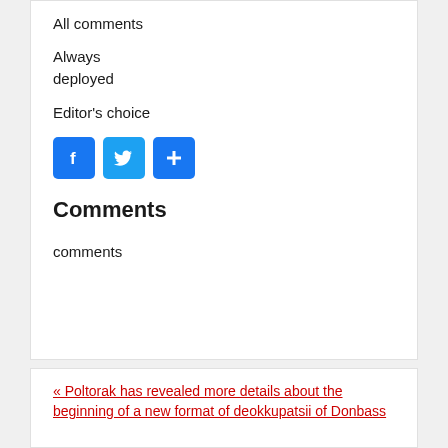All comments
Always deployed
Editor's choice
[Figure (infographic): Three social share buttons: Facebook (f), Twitter (bird icon), and a blue plus/share button]
Comments
comments
« Poltorak has revealed more details about the beginning of a new format of deokkupatsii of Donbass